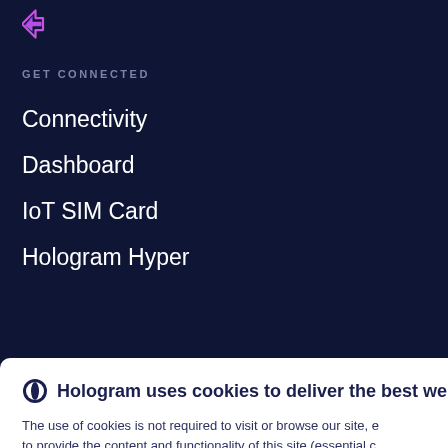[Figure (logo): Hologram logo with purple/pink arrow icon]
GET CONNECTED
Connectivity
Dashboard
IoT SIM Card
Hologram Hyper
Hologram uses cookies to deliver the best we
The use of cookies is not required to visit or browse our site, e to provide the content and functionality of this site (essential c 'Accept' button below, you consent to our use of cookies.
Read our cookie notice for full details on Hologram's use of coo
Accept
Manage cookies